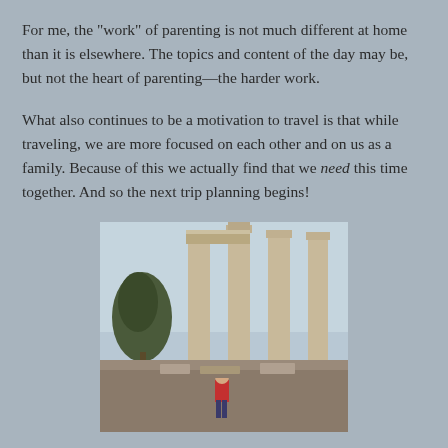For me, the "work" of parenting is not much different at home than it is elsewhere. The topics and content of the day may be, but not the heart of parenting—the harder work.
What also continues to be a motivation to travel is that while traveling, we are more focused on each other and on us as a family. Because of this we actually find that we need this time together. And so the next trip planning begins!
[Figure (photo): A person standing in front of ancient Greek columns (likely the Temple of Olympian Zeus in Athens), with a tree visible on the left side and a clear sky in the background.]